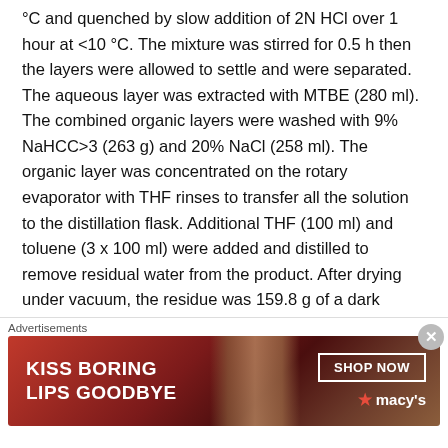°C and quenched by slow addition of 2N HCl over 1 hour at <10 °C. The mixture was stirred for 0.5 h then the layers were allowed to settle and were separated. The aqueous layer was extracted with MTBE (280 ml). The combined organic layers were washed with 9% NaHCC>3 (263 g) and 20% NaCl (258 ml). The organic layer was concentrated on the rotary evaporator with THF rinses to transfer all the solution to the distillation flask. Additional THF (100 ml) and toluene (3 x 100 ml) were added and distilled to remove residual water from the product. After drying under vacuum, the residue was 159.8 g of a dark brown waxy solid (>theory). The purity was approximately 93% by HPLC analysis.EXAMPLE 3Preparation of 3-
[Figure (other): Advertisement banner for Macy's cosmetics: 'KISS BORING LIPS GOODBYE' with a SHOP NOW button and Macy's star logo, featuring a close-up photo of a woman's face.]